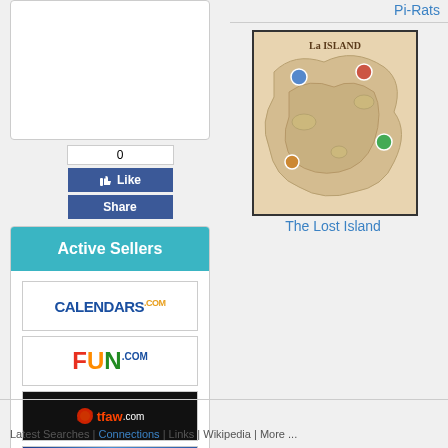[Figure (screenshot): White card placeholder area at top left]
[Figure (screenshot): Facebook Like (0) and Share buttons]
Active Sellers
[Figure (logo): CALENDARS.com logo - blue text with orange .com]
[Figure (logo): FUN.com logo - colorful text]
[Figure (logo): tfaw.com logo - black background with planet icon]
[Figure (logo): Puzzle Master logo - rainbow oval on blue background]
Pi-Rats
[Figure (photo): The Lost Island board game box art showing a map]
The Lost Island
Latest Searches | Connections | Links | Wikipedia | More ...